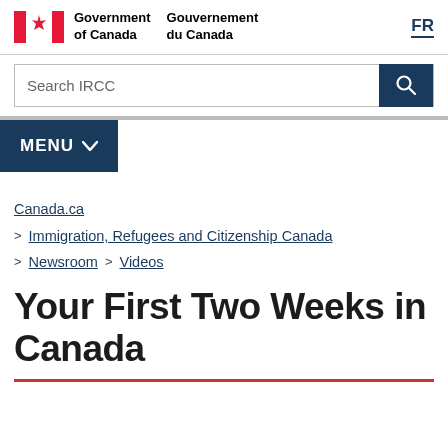Government of Canada / Gouvernement du Canada | FR
Search IRCC
MENU
Canada.ca
Immigration, Refugees and Citizenship Canada
Newsroom > Videos
Your First Two Weeks in Canada